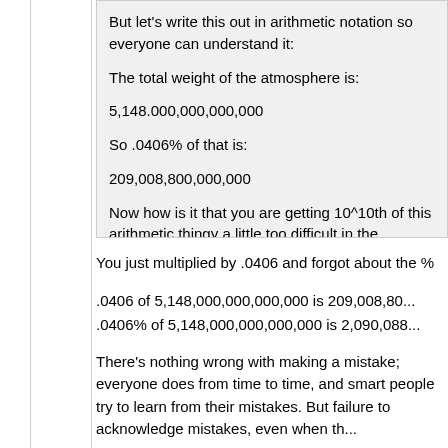But let's write this out in arithmetic notation so everyone can understand it:
The total weight of the atmosphere is:
5,148.000,000,000,000
So .0406% of that is:
209,008,800,000,000
Now how is it that you are getting 10^10th of this arithmetic thingy a little too difficult in the kindergarten?
Still waiting for your answer.
You just multiplied by .0406 and forgot about the %
.0406 of 5,148,000,000,000,000 is 209,008,80...
.0406% of 5,148,000,000,000,000 is 2,090,088...
There's nothing wrong with making a mistake; everyone does from time to time, and smart people try to learn from their mistakes. But failure to acknowledge mistakes, even when th...